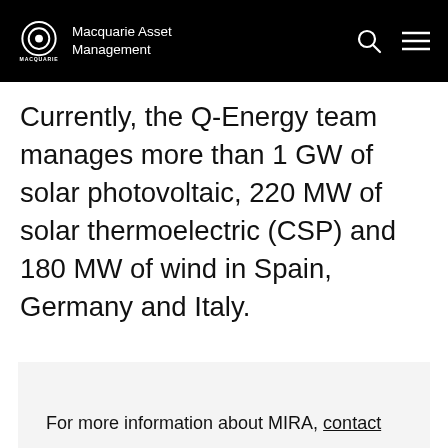Macquarie Asset Management
Currently, the Q-Energy team manages more than 1 GW of solar photovoltaic, 220 MW of solar thermoelectric (CSP) and 180 MW of wind in Spain, Germany and Italy.
For more information about MIRA, contact